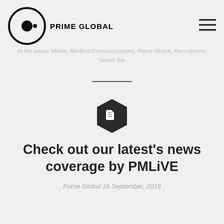PRIME GLOBAL
In-the-press, Media, Medical Communications, Prime Global, Recruitment, Senior the
[Figure (illustration): Dark hexagon icon with a document/file symbol inside]
Check out our latest's news coverage by PMLiVE
Prime Global 16 September, 2016